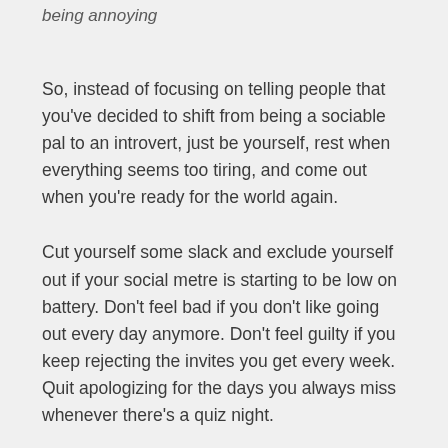being annoying
So, instead of focusing on telling people that you've decided to shift from being a sociable pal to an introvert, just be yourself, rest when everything seems too tiring, and come out when you're ready for the world again.
Cut yourself some slack and exclude yourself out if your social metre is starting to be low on battery. Don't feel bad if you don't like going out every day anymore. Don't feel guilty if you keep rejecting the invites you get every week. Quit apologizing for the days you always miss whenever there's a quiz night.
Start saying no to some of the every other day gatherings you've been wanting to say